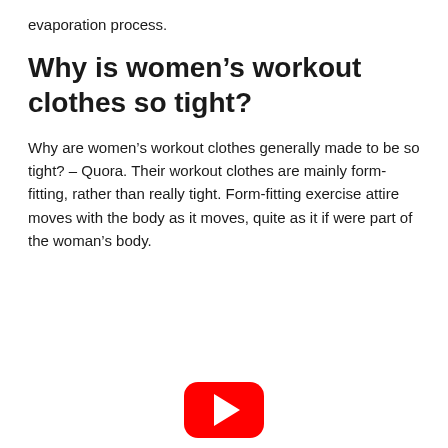evaporation process.
Why is women’s workout clothes so tight?
Why are women’s workout clothes generally made to be so tight? – Quora. Their workout clothes are mainly form-fitting, rather than really tight. Form-fitting exercise attire moves with the body as it moves, quite as it if were part of the woman’s body.
[Figure (other): YouTube play button icon — red rounded rectangle with white triangle play arrow]